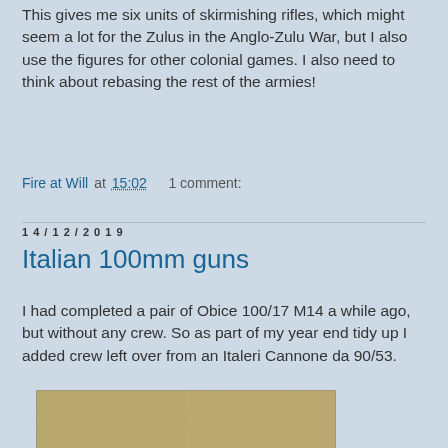This gives me six units of skirmishing rifles, which might seem a lot for the Zulus in the Anglo-Zulu War, but I also use the figures for other colonial games. I also need to think about rebasing the rest of the armies!
Fire at Will at 15:02    1 comment:
14/12/2019
Italian 100mm guns
I had completed a pair of Obice 100/17 M14 a while ago, but without any crew. So as part of my year end tidy up I added crew left over from an Italeri Cannone da 90/53.
[Figure (photo): Photo of two Italian 100mm gun miniatures with crew figures on sandy-colored bases, photographed on a tan fabric background.]